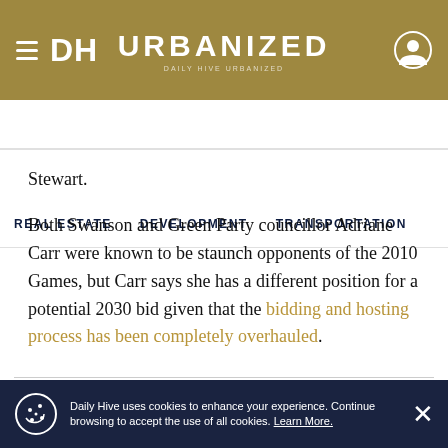DH URBANIZED
REAL ESTATE   DEVELOPMENT   TRANSPORTATION
Stewart.
Both Swanson and Green Party councillor Adriane Carr were known to be staunch opponents of the 2010 Games, but Carr says she has a different position for a potential 2030 bid given that the bidding and hosting process has been completely overhauled.
Daily Hive uses cookies to enhance your experience. Continue browsing to accept the use of all cookies. Learn More.